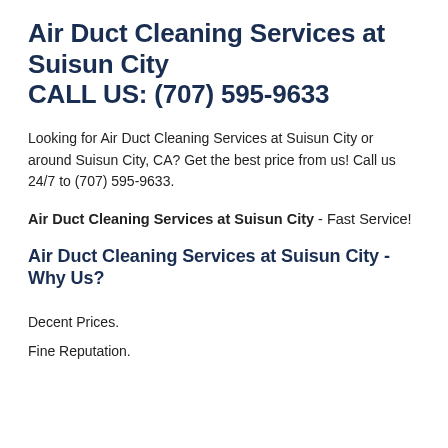Air Duct Cleaning Services at Suisun City CALL US: (707) 595-9633
Looking for Air Duct Cleaning Services at Suisun City or around Suisun City, CA? Get the best price from us! Call us 24/7 to (707) 595-9633.
Air Duct Cleaning Services at Suisun City - Fast Service!
Air Duct Cleaning Services at Suisun City - Why Us?
Decent Prices.
Fine Reputation.